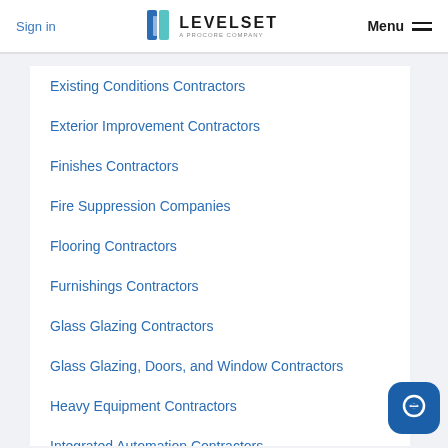Sign in | LEVELSET A PROCORE COMPANY | Menu
Existing Conditions Contractors
Exterior Improvement Contractors
Finishes Contractors
Fire Suppression Companies
Flooring Contractors
Furnishings Contractors
Glass Glazing Contractors
Glass Glazing, Doors, and Window Contractors
Heavy Equipment Contractors
Integrated Automation Contractors
Landscaping Contractors